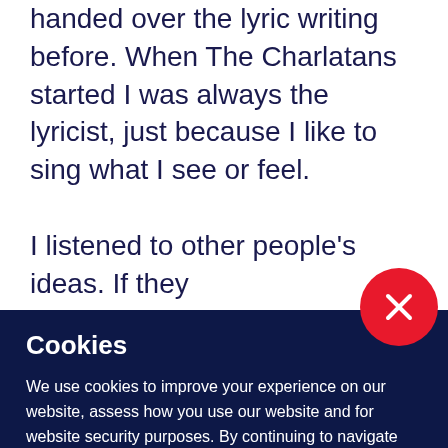handed over the lyric writing before. When The Charlatans started I was always the lyricist, just because I like to sing what I see or feel.

I listened to other people's ideas. If they
Cookies
We use cookies to improve your experience on our website, assess how you use our website and for website security purposes. By continuing to navigate this website, we'll assume you agree to this. Read more about what cookies do and how to adjust your settings here.